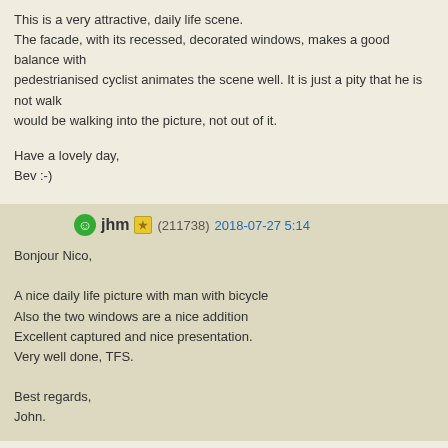This is a very attractive, daily life scene.
The facade, with its recessed, decorated windows, makes a good balance with pedestrianised cyclist animates the scene well. It is just a pity that he is not walk would be walking into the picture, not out of it.

Have a lovely day,
Bev :-)
jhm (211738) 2018-07-27 5:14

Bonjour Nico,

A nice daily life picture with man with bicycle
Also the two windows are a nice addition
Excellent captured and nice presentation.
Very well done, TFS.

Best regards,
John.
Cricri (176) 2018-07-27 7:56

Hello Nico
Jolies dÿcorations autour de fenktres, les portes brune, les fleurs , le passant a composition
Bonne journÿe